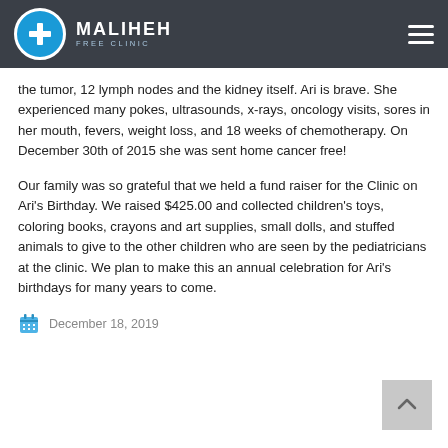MALIHEH FREE CLINIC
the tumor, 12 lymph nodes and the kidney itself. Ari is brave. She experienced many pokes, ultrasounds, x-rays, oncology visits, sores in her mouth, fevers, weight loss, and 18 weeks of chemotherapy. On December 30th of 2015 she was sent home cancer free!
Our family was so grateful that we held a fund raiser for the Clinic on Ari’s Birthday. We raised $425.00 and collected children’s toys, coloring books, crayons and art supplies, small dolls, and stuffed animals to give to the other children who are seen by the pediatricians at the clinic. We plan to make this an annual celebration for Ari’s birthdays for many years to come.
December 18, 2019